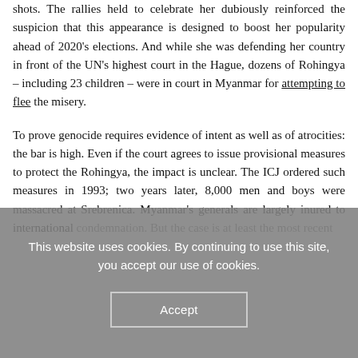shots. The rallies held to celebrate her dubiously reinforced the suspicion that this appearance is designed to boost her popularity ahead of 2020's elections. And while she was defending her country in front of the UN's highest court in the Hague, dozens of Rohingya – including 23 children – were in court in Myanmar for attempting to flee the misery.
To prove genocide requires evidence of intent as well as of atrocities: the bar is high. Even if the court agrees to issue provisional measures to protect the Rohingya, the impact is unclear. The ICJ ordered such measures in 1993; two years later, 8,000 men and boys were massacred at Srebrenica. Myanmar's generals are largely inured to international condemnation. But the case is at least the most recent chapter
This website uses cookies. By continuing to use this site, you accept our use of cookies.
Accept